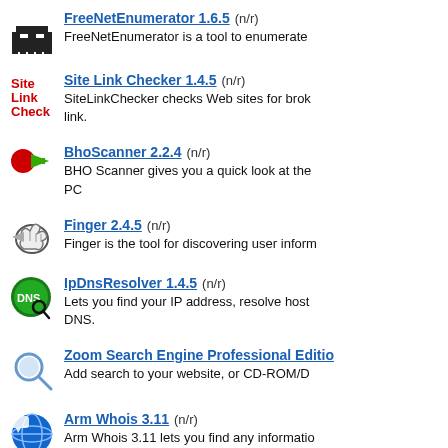FreeNetEnumerator 1.6.5 (n/r) FreeNetEnumerator is a tool to enumerate
Site Link Checker 1.4.5 (n/r) SiteLinkChecker checks Web sites for broken link.
BhoScanner 2.2.4 (n/r) BHO Scanner gives you a quick look at the PC
Finger 2.4.5 (n/r) Finger is the tool for discovering user information
IpDnsResolver 1.4.5 (n/r) Lets you find your IP address, resolve host DNS.
Zoom Search Engine Professional Edition Add search to your website, or CD-ROM/D
Arm Whois 3.11 (n/r) Arm Whois 3.11 lets you find any information